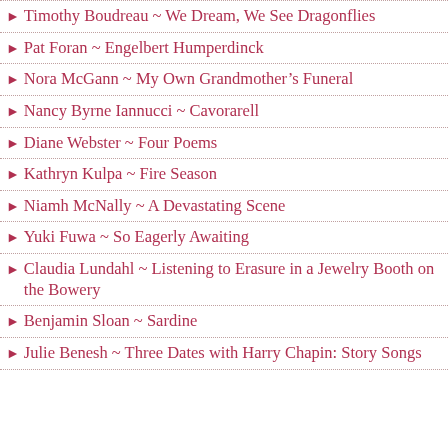Timothy Boudreau ~ We Dream, We See Dragonflies
Pat Foran ~ Engelbert Humperdinck
Nora McGann ~ My Own Grandmother's Funeral
Nancy Byrne Iannucci ~ Cavorarell
Diane Webster ~ Four Poems
Kathryn Kulpa ~ Fire Season
Niamh McNally ~ A Devastating Scene
Yuki Fuwa ~ So Eagerly Awaiting
Claudia Lundahl ~ Listening to Erasure in a Jewelry Booth on the Bowery
Benjamin Sloan ~ Sardine
Julie Benesh ~ Three Dates with Harry Chapin: Story Songs